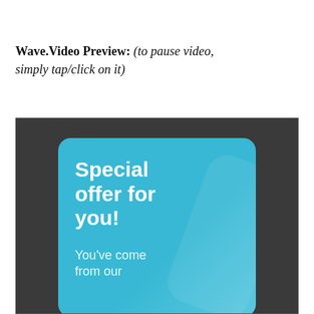Wave.Video Preview: (to pause video, simply tap/click on it)
[Figure (screenshot): A video preview screenshot showing a mobile-style card on a dark background. The card has a teal/cyan gradient background with bold white text reading 'Special offer for you!' and smaller text below reading 'You've come from our']